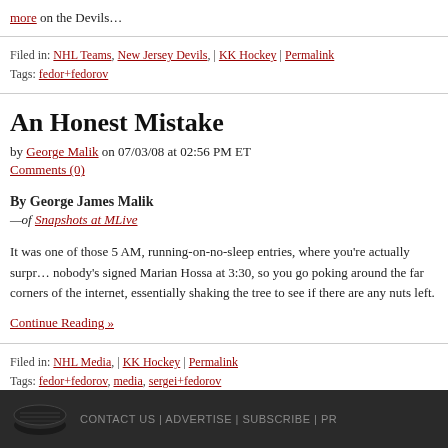more on the Devils…
Filed in: NHL Teams, New Jersey Devils, | KK Hockey | Permalink
Tags: fedor+fedorov
An Honest Mistake
by George Malik on 07/03/08 at 02:56 PM ET
Comments (0)
By George James Malik
—of Snapshots at MLive
It was one of those 5 AM, running-on-no-sleep entries, where you're actually surprised nobody's signed Marian Hossa at 3:30, so you go poking around the far corners of the internet, essentially shaking the tree to see if there are any nuts left.
Continue Reading »
Filed in: NHL Media, | KK Hockey | Permalink
Tags: fedor+fedorov, media, sergei+fedorov
CONTACT US | ADVERTISE | SUBSCRIBE | PR…